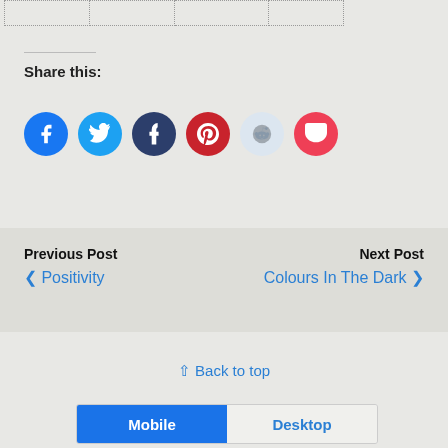[Figure (other): Partial dotted table fragment at top of page]
Share this:
[Figure (infographic): Row of 6 social media icon circles: Facebook (blue), Twitter (light blue), Tumblr (dark navy), Pinterest (red), Reddit (light blue/grey), Pocket (red)]
Previous Post ❮ Positivity
Next Post Colours In The Dark ❯
⇮ Back to top
[Figure (infographic): Mobile/Desktop toggle bar with Mobile selected (blue) and Desktop unselected (light grey)]